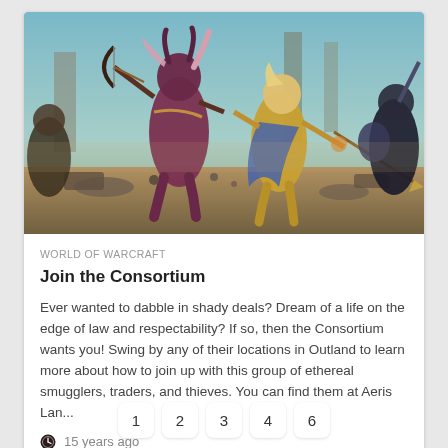[Figure (illustration): Fantasy battle scene from World of Warcraft showing a troll archer with a large bow fighting a golden-armored paladin warrior on a battlefield.]
WORLD OF WARCRAFT
Join the Consortium
Ever wanted to dabble in shady deals? Dream of a life on the edge of law and respectability? If so, then the Consortium wants you! Swing by any of their locations in Outland to learn more about how to join up with this group of ethereal smugglers, traders, and thieves. You can find them at Aeris Lan...
15 years ago